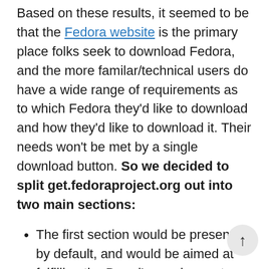Based on these results, it seemed to be that the Fedora website is the primary place folks seek to download Fedora, and the more familar/technical users do have a wide range of requirements as to which Fedora they'd like to download and how they'd like to download it. Their needs won't be met by a single download button. So we decided to split get.fedoraproject.org out into two main sections:
The first section would be presented by default, and would be aimed at fulfilling the Board's requirements.
The second section would be accessible links on the default page, and would provide